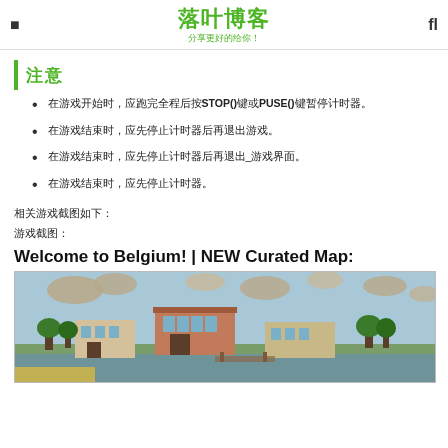落叶博客 分享更好的给你！
注意
在游戏开始时，应跑完全程后按STOP()键或PUSE()键暂停计时器。
在游戏结束时，应先停止计时器后再退出游戏。
在游戏结束时，应先停止计时器后再退出_游戏界面。
在游戏结束时，应先停止计时器。
相关游戏截图如下：
游戏截图：
Welcome to Belgium! | NEW Curated Map:
[Figure (screenshot): A game screenshot showing a Belgium-themed map with buildings, trees, water, and stylized clouds in a video game environment.]